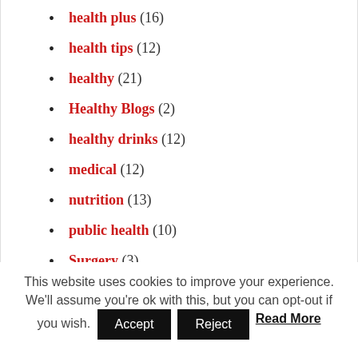health plus (16)
health tips (12)
healthy (21)
Healthy Blogs (2)
healthy drinks (12)
medical (12)
nutrition (13)
public health (10)
Surgery (3)
Travel and Tour (1)
This website uses cookies to improve your experience. We'll assume you're ok with this, but you can opt-out if you wish. Accept Reject Read More